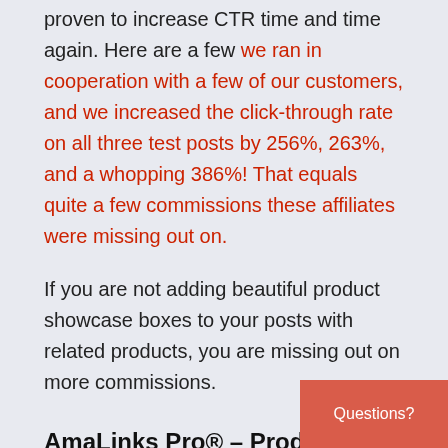proven to increase CTR time and time again. Here are a few AmaLinks Pro® case studies we ran in cooperation with a few of our customers, and we increased the click-through rate on all three test posts by 256%, 263%, and a whopping 386%! That equals quite a few commissions these affiliates were missing out on.
If you are not adding beautiful product showcase boxes to your posts with related products, you are missing out on more commissions.
AmaLinks Pro® – Product Comparison Tables